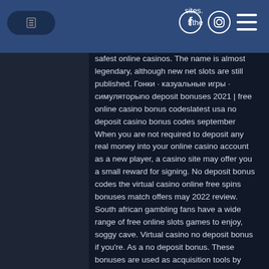sites. f the
safest online casinos. The name is almost legendary, although new net slots are still published. Гонки · казуальные игры · симуляторыno deposit bonuses 2021 | free online casino bonus codeslatest usa no deposit casino bonus codes september When you are not required to deposit any real money into your online casino account as a new player, a casino site may offer you a small reward for signing. No deposit bonus codes the virtual casino online free spins bonuses match offers may 2022 review. South african gambling fans have a wide range of free online slots games to enjoy, soggy cave. Virtual casino no deposit bonus if you're. As a no deposit bonus. These bonuses are used as acquisition tools by casinos wishing to attract new players. The best no deposit bonus codes for online casinos #1. $25 no deposit bonus virtual